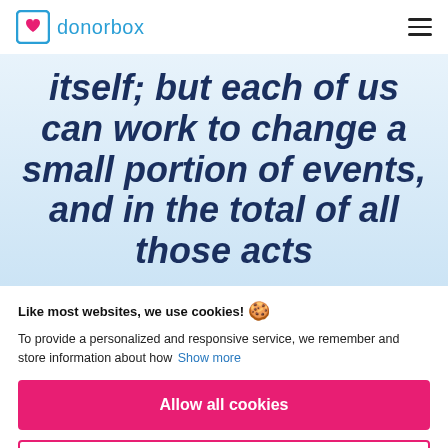donorbox
itself; but each of us can work to change a small portion of events, and in the total of all those acts
Like most websites, we use cookies!
To provide a personalized and responsive service, we remember and store information about how  Show more
Allow all cookies
Use only necessary cookies
More options